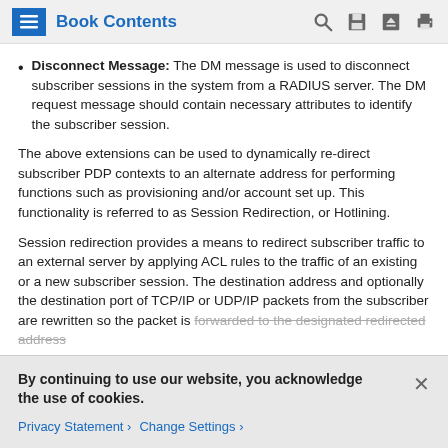Book Contents
Disconnect Message: The DM message is used to disconnect subscriber sessions in the system from a RADIUS server. The DM request message should contain necessary attributes to identify the subscriber session.
The above extensions can be used to dynamically re-direct subscriber PDP contexts to an alternate address for performing functions such as provisioning and/or account set up. This functionality is referred to as Session Redirection, or Hotlining.
Session redirection provides a means to redirect subscriber traffic to an external server by applying ACL rules to the traffic of an existing or a new subscriber session. The destination address and optionally the destination port of TCP/IP or UDP/IP packets from the subscriber are rewritten so the packet is forwarded to the designated redirected address.
By continuing to use our website, you acknowledge the use of cookies.
Privacy Statement > Change Settings >